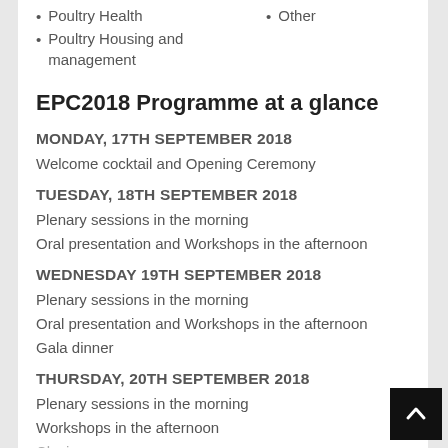Poultry Health
Other
Poultry Housing and management
EPC2018 Programme at a glance
MONDAY, 17TH SEPTEMBER 2018
Welcome cocktail and Opening Ceremony
TUESDAY, 18TH SEPTEMBER 2018
Plenary sessions in the morning
Oral presentation and Workshops in the afternoon
WEDNESDAY 19TH SEPTEMBER 2018
Plenary sessions in the morning
Oral presentation and Workshops in the afternoon
Gala dinner
THURSDAY, 20TH SEPTEMBER 2018
Plenary sessions in the morning
Workshops in the afternoon
Closing ceremony